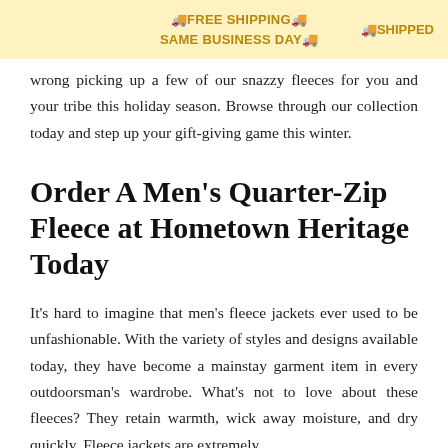🚚FREE SHIPPING🚚 SAME BUSINESS DAY🚚  🚚SHIPPED
wrong picking up a few of our snazzy fleeces for you and your tribe this holiday season. Browse through our collection today and step up your gift-giving game this winter.
Order A Men's Quarter-Zip Fleece at Hometown Heritage Today
It's hard to imagine that men's fleece jackets ever used to be unfashionable. With the variety of styles and designs available today, they have become a mainstay garment item in every outdoorsman's wardrobe. What's not to love about these fleeces? They retain warmth, wick away moisture, and dry quickly. Fleece jackets are extremely